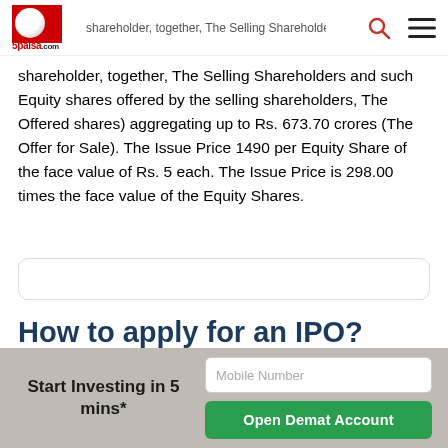5paisa.com — navigation header with search and menu icons
shareholder, together, The Selling Shareholders and such Equity shares offered by the selling shareholders, The Offered shares) aggregating up to Rs. 673.70 crores (The Offer for Sale). The Issue Price 1490 per Equity Share of the face value of Rs. 5 each. The Issue Price is 298.00 times the face value of the Equity Shares.
How to apply for an IPO?
Login to your 5paisa account and select the issue in the current IPO section
Start Investing in 5 mins* | Mobile Number | Open Demat Account